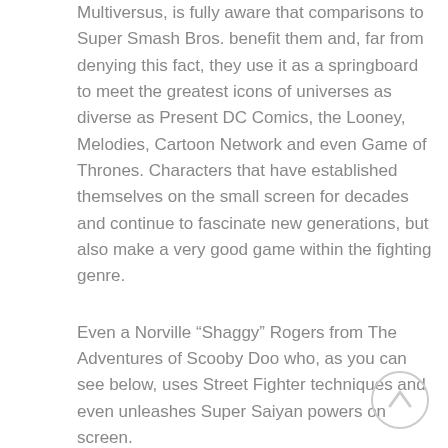Multiversus, is fully aware that comparisons to Super Smash Bros. benefit them and, far from denying this fact, they use it as a springboard to meet the greatest icons of universes as diverse as Present DC Comics, the Looney, Melodies, Cartoon Network and even Game of Thrones. Characters that have established themselves on the small screen for decades and continue to fascinate new generations, but also make a very good game within the fighting genre.
Even a Norville “Shaggy” Rogers from The Adventures of Scooby Doo who, as you can see below, uses Street Fighter techniques and even unleashes Super Saiyan powers on screen.
[Figure (other): Circular scroll-to-top button arrow icon in light gray]